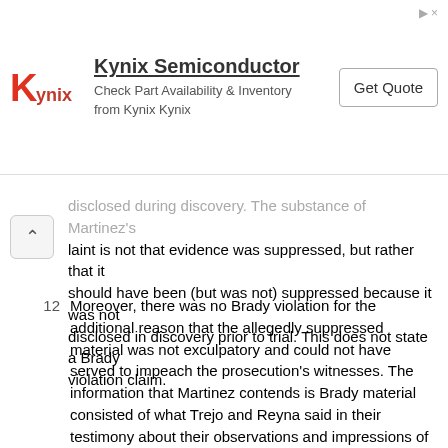[Figure (other): Kynix Semiconductor advertisement banner with logo, tagline 'Check Part Availability & Inventory from Kynix Kynix', and 'Get Quote' button]
disclosed during discovery. The substance of Martinez's complaint is not that evidence was suppressed, but rather that it should have been (but was not) suppressed because it was not disclosed in discovery prior to trial. This does not state a Brady violation claim.
12  Moreover, there was no Brady violation for the additional reason that the allegedly suppressed material was not exculpatory and could not have served to impeach the prosecution's witnesses. The information that Martinez contends is Brady material consisted of what Trejo and Reyna said in their testimony about their observations and impressions of their encounter with Martinez and the truck he was driving on October 31. This testimony in no way tended to exculpate Martinez. As Martinez asserted in his brief, "[h]ad it not been for those items the Government would not have had sufficient factual basis to support" the inferences of knowledge and intent necessary for a conviction. Additionally, this testimony itself did